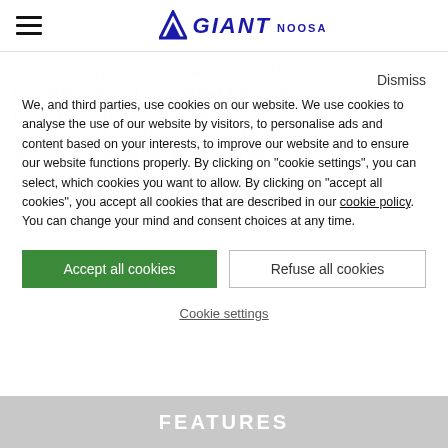Giant Noosa — header with hamburger menu icon and Giant Noosa logo
The optimised carbon laminate in the new TRX 0 creates an optimised structure that delivers the perfect balance between strength and lightweight. The result is efficiency and acceleration that gets you to the top of the mountain, while the engineered compliance and vastly improved impact toughness ensure you enjoy the descent with confidence.
Dismiss
We, and third parties, use cookies on our website. We use cookies to analyse the use of our website by visitors, to personalise ads and content based on your interests, to improve our website and to ensure our website functions properly. By clicking on "cookie settings", you can select, which cookies you want to allow. By clicking on "accept all cookies", you accept all cookies that are described in our cookie policy. You can change your mind and consent choices at any time.
Accept all cookies
Refuse all cookies
Cookie settings
FEATURES